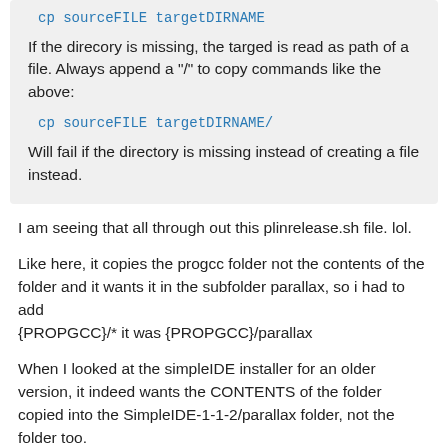cp sourceFILE targetDIRNAME
If the direcory is missing, the targed is read as path of a file. Always append a "/" to copy commands like the above:
cp sourceFILE targetDIRNAME/
Will fail if the directory is missing instead of creating a file instead.
I am seeing that all through out this plinrelease.sh file. lol.
Like here, it copies the progcc folder not the contents of the folder and it wants it in the subfolder parallax, so i had to add
{PROPGCC}/* it was {PROPGCC}/parallax
When I looked at the simpleIDE installer for an older version, it indeed wants the CONTENTS of the folder copied into the SimpleIDE-1-1-2/parallax folder, not the folder too.